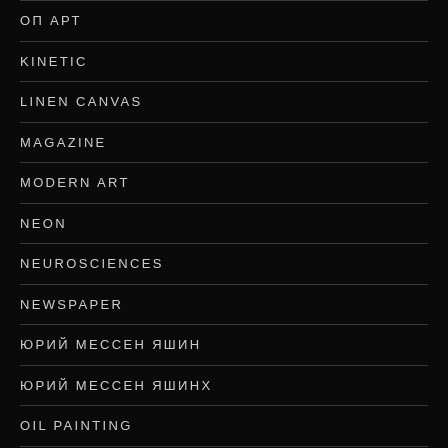ОП АРТ
KINETIC
LINEN CANVAS
MAGAZINE
MODERN ART
NEON
NEUROSCIENCES
NEWSPAPER
ЮРИЙ МЕССЕН ЯШИН
ЮРИЙ МЕССЕН ЯШИНХ
OIL PAINTING